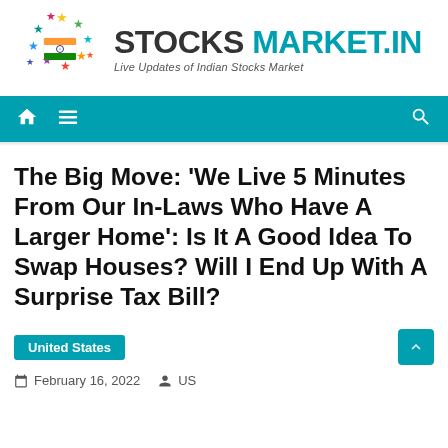[Figure (logo): StocksMarket.in logo with colorful stars arranged in a circle around an Indian flag, with bold text 'STOCKS MARKET.IN' and tagline 'Live Updates of Indian Stocks Market']
Navigation bar with home icon, menu icon, and search icon on teal background
The Big Move: ‘We Live 5 Minutes From Our In-Laws Who Have A Larger Home’: Is It A Good Idea To Swap Houses? Will I End Up With A Surprise Tax Bill?
United States
February 16, 2022  US